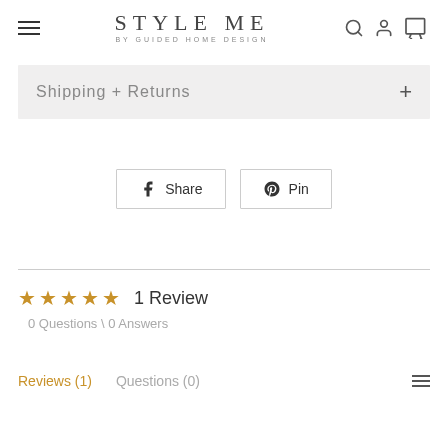STYLE ME BY GUIDED HOME DESIGN
Shipping + Returns
Share   Pin
1 Review
0 Questions \ 0 Answers
Reviews (1)   Questions (0)